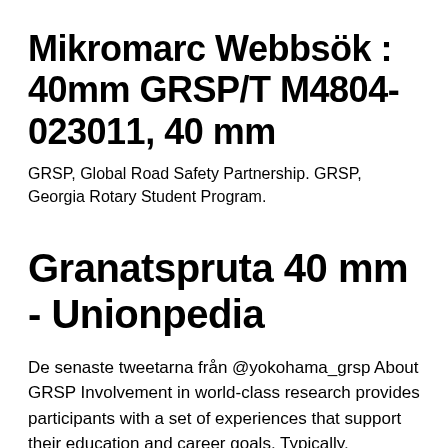Mikromarc Webbsök : 40mm GRSP/T M4804-023011, 40 mm
GRSP, Global Road Safety Partnership. GRSP, Georgia Rotary Student Program.
Granatspruta 40 mm - Unionpedia
De senaste tweetarna från @yokohama_grsp About GRSP Involvement in world-class research provides participants with a set of experiences that support their education and career goals. Typically, participants gain hands-on experience and the opportunity to apply learned theory to real life